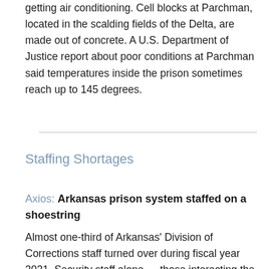getting air conditioning. Cell blocks at Parchman, located in the scalding fields of the Delta, are made out of concrete. A U.S. Department of Justice report about poor conditions at Parchman said temperatures inside the prison sometimes reach up to 145 degrees.
Staffing Shortages
Axios: Arkansas prison system staffed on a shoestring
Almost one-third of Arkansas' Division of Corrections staff turned over during fiscal year 2021. Security staff alone — those interacting the